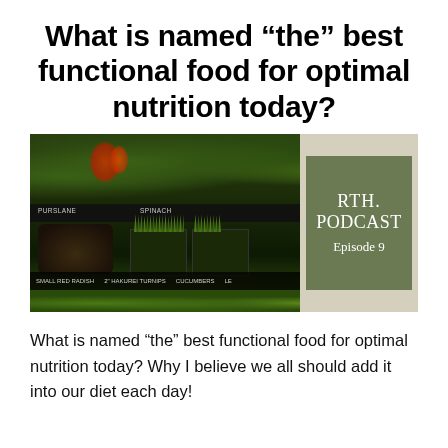What is named “the” best functional food for optimal nutrition today?
[Figure (photo): A photo of a produce/vegetable display with various greens, herbs, and root vegetables. On the right side is a sage-green box containing the text 'RTH. PODCAST Episode 9' in white serif font on a darker olive/green background.]
What is named “the” best functional food for optimal nutrition today? Why I believe we all should add it into our diet each day!